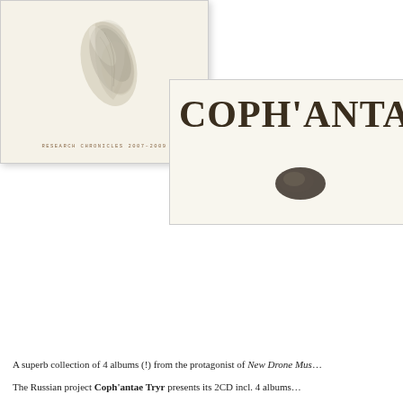[Figure (illustration): Album cover showing a watercolor illustration of a shell or organic form on a cream/ivory background, with subtitle text 'RESEARCH CHRONICLES 2007-2009' in small caps at the bottom]
[Figure (illustration): Second album cover partially visible, cream/ivory background with large serif text 'COPH'ANTAE TRY' and a small dark oval/shell shape below the text]
A superb collection of 4 albums (!) from the protagonist of New Drone Mus…
The Russian project Coph'antae Tryr presents its 2CD incl. 4 albums…